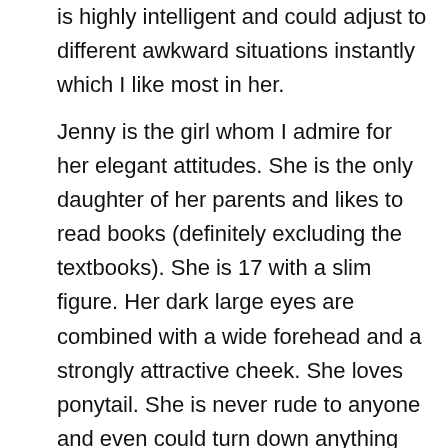is highly intelligent and could adjust to different awkward situations instantly which I like most in her.
Jenny is the girl whom I admire for her elegant attitudes. She is the only daughter of her parents and likes to read books (definitely excluding the textbooks). She is 17 with a slim figure. Her dark large eyes are combined with a wide forehead and a strongly attractive cheek. She loves ponytail. She is never rude to anyone and even could turn down anything without being impolite. Last year, a boy fell in her and proposed to be his partner but she refused the issue so precisely that the boy did not ask anything else to her and left. It happened several times with the other boys as well who came to convince her over the same issue. Sometimes she turns funnier and